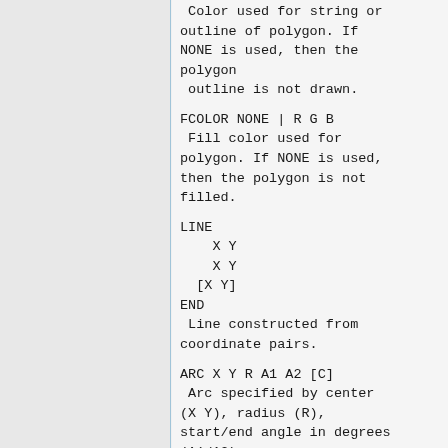Color used for string or outline of polygon. If NONE is used, then the polygon
 outline is not drawn.
FCOLOR NONE | R G B
 Fill color used for polygon. If NONE is used, then the polygon is not filled.
LINE
   X Y
   X Y
 [X Y]
END
 Line constructed from coordinate pairs.
ARC X Y R A1 A2 [C]
 Arc specified by center (X Y), radius (R), start/end angle in degrees (A1/A2).